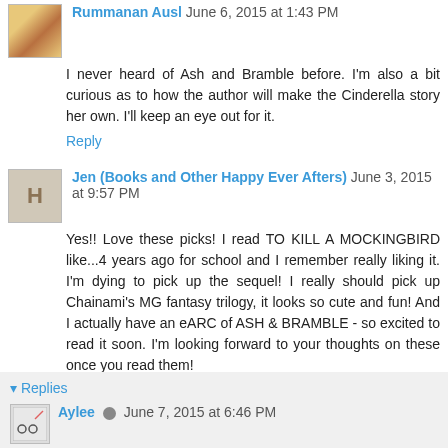Rummanan Ausl June 6, 2015 at 1:43 PM
I never heard of Ash and Bramble before. I'm also a bit curious as to how the author will make the Cinderella story her own. I'll keep an eye out for it.
Reply
Jen (Books and Other Happy Ever Afters) June 3, 2015 at 9:57 PM
Yes!! Love these picks! I read TO KILL A MOCKINGBIRD like...4 years ago for school and I remember really liking it. I'm dying to pick up the sequel! I really should pick up Chainami's MG fantasy trilogy, it looks so cute and fun! And I actually have an eARC of ASH & BRAMBLE - so excited to read it soon. I'm looking forward to your thoughts on these once you read them!
Reply
Replies
Aylee June 7, 2015 at 6:46 PM